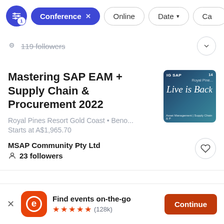Conference × | Online | Date ↓ | Ca...
119 followers
Mastering SAP EAM + Supply Chain & Procurement 2022
Royal Pines Resort Gold Coast • Beno...
Starts at A$1,965.70
MSAP Community Pty Ltd
23 followers
[Figure (photo): Event thumbnail showing coastal city with cursive text overlay 'Live is Back' and subtitle 'Asset Management | Supply Chain & P']
Find events on-the-go ★★★★★ (128k)
Continue